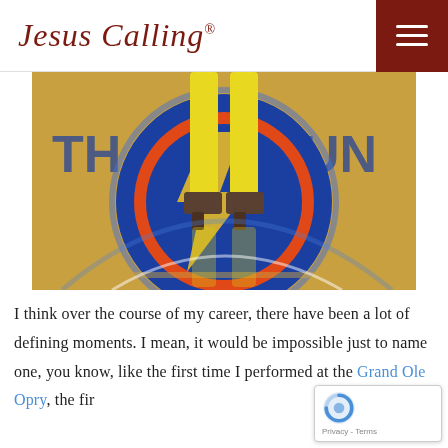Jesus Calling®
[Figure (photo): Person in yellow pants and heeled sandals standing on a basketball court floor with the Oklahoma City Thunder logo painted on the hardwood]
I think over the course of my career, there have been a lot of defining moments. I mean, it would be impossible just to name one, you know, like the first time I performed at the Grand Ole Opry, the fir